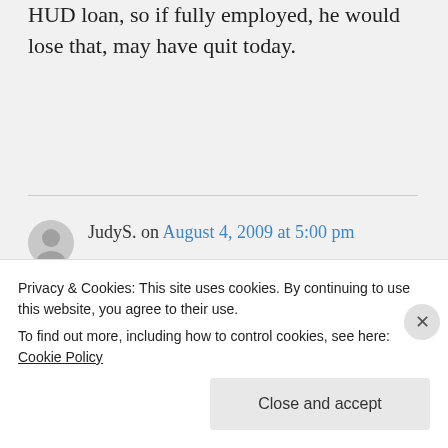HUD loan, so if fully employed, he would lose that, may have quit today.
JudyS. on August 4, 2009 at 5:00 pm
Here's another story for ya.
When my youngest son was big brother in the big brother,
Privacy & Cookies: This site uses cookies. By continuing to use this website, you agree to their use.
To find out more, including how to control cookies, see here: Cookie Policy